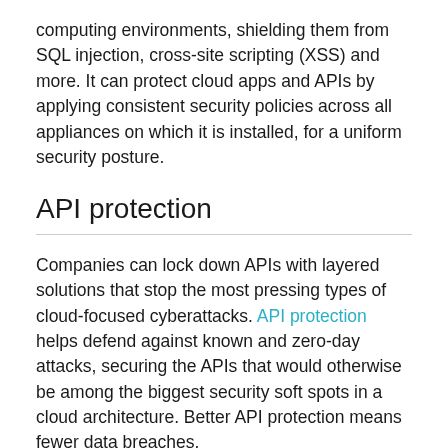computing environments, shielding them from SQL injection, cross-site scripting (XSS) and more. It can protect cloud apps and APIs by applying consistent security policies across all appliances on which it is installed, for a uniform security posture.
API protection
Companies can lock down APIs with layered solutions that stop the most pressing types of cloud-focused cyberattacks. API protection helps defend against known and zero-day attacks, securing the APIs that would otherwise be among the biggest security soft spots in a cloud architecture. Better API protection means fewer data breaches.